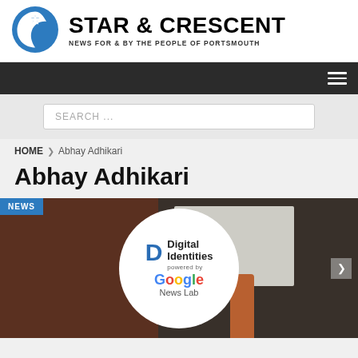[Figure (logo): Star & Crescent newspaper logo with blue star and crescent moon symbol, site name 'STAR & CRESCENT' in bold black, subtitle 'NEWS FOR & BY THE PEOPLE OF PORTSMOUTH']
Navigation bar with hamburger menu icon
SEARCH ...
HOME  ❯  Abhay Adhikari
Abhay Adhikari
[Figure (photo): Article thumbnail showing Digital Identities powered by Google News Lab logo overlaid on a photo of people at a presentation/event]